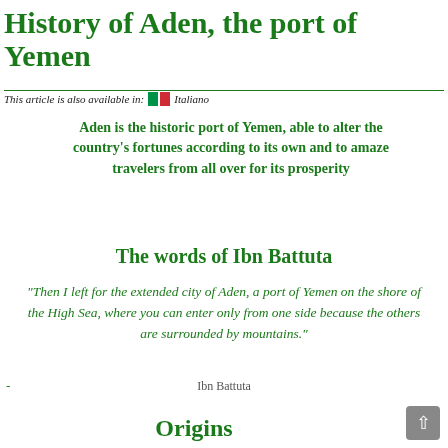History of Aden, the port of Yemen
This article is also available in: 🇮🇹 Italiano
Aden is the historic port of Yemen, able to alter the country's fortunes according to its own and to amaze travelers from all over for its prosperity
The words of Ibn Battuta
"Then I left for the extended city of Aden, a port of Yemen on the shore of the High Sea, where you can enter only from one side because the others are surrounded by mountains."
- Ibn Battuta
Origins